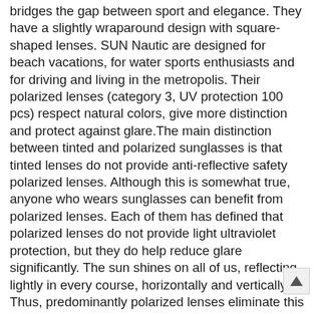bridges the gap between sport and elegance. They have a slightly wraparound design with square-shaped lenses. SUN Nautic are designed for beach vacations, for water sports enthusiasts and for driving and living in the metropolis. Their polarized lenses (category 3, UV protection 100 pcs) respect natural colors, give more distinction and protect against glare.The main distinction between tinted and polarized sunglasses is that tinted lenses do not provide anti-reflective safety polarized lenses. Although this is somewhat true, anyone who wears sunglasses can benefit from polarized lenses. Each of them has defined that polarized lenses do not provide light ultraviolet protection, but they do help reduce glare significantly. The sun shines on all of us, reflecting lightly in every course, horizontally and vertically. Thus, predominantly polarized lenses eliminate this glare while allowing light vertical rays to pass through.
Polarized rays should not be confused with UVA and UVB rays, which are also dangerous for attention. Polarized mythos, as described by Dr. Park, are waves that oscillate in a single plane or route. When light hits a flat surface like a body of water or the hood of a car, it becomes horizontally polarized and can trigger glare. Polarized sunglasses work